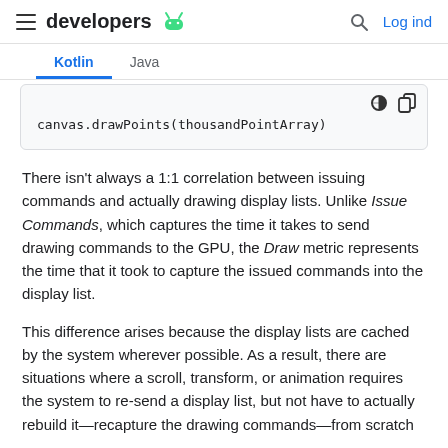developers [android logo] | [search icon] Log ind
Kotlin  Java
canvas.drawPoints(thousandPointArray)
There isn't always a 1:1 correlation between issuing commands and actually drawing display lists. Unlike Issue Commands, which captures the time it takes to send drawing commands to the GPU, the Draw metric represents the time that it took to capture the issued commands into the display list.
This difference arises because the display lists are cached by the system wherever possible. As a result, there are situations where a scroll, transform, or animation requires the system to re-send a display list, but not have to actually rebuild it—recapture the drawing commands—from scratch